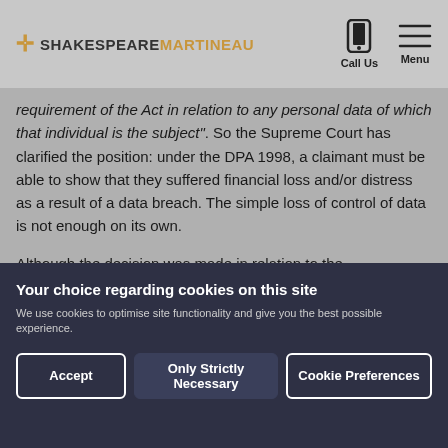Shakespeare Martineau — Call Us | Menu
requirement of the Act in relation to any personal data of which that individual is the subject". So the Supreme Court has clarified the position: under the DPA 1998, a claimant must be able to show that they suffered financial loss and/or distress as a result of a data breach. The simple loss of control of data is not enough on its own.
Although the decision was made in relation to the
Your choice regarding cookies on this site
We use cookies to optimise site functionality and give you the best possible experience.